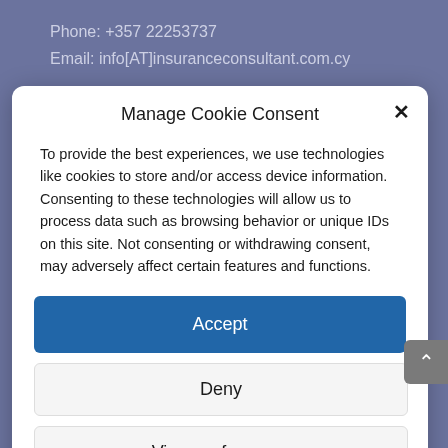Phone: +357 22253737
Email: info[AT]insuranceconsultant.com.cy
Manage Cookie Consent
To provide the best experiences, we use technologies like cookies to store and/or access device information. Consenting to these technologies will allow us to process data such as browsing behavior or unique IDs on this site. Not consenting or withdrawing consent, may adversely affect certain features and functions.
Accept
Deny
View preferences
Cookies Policy  Privacy Policy